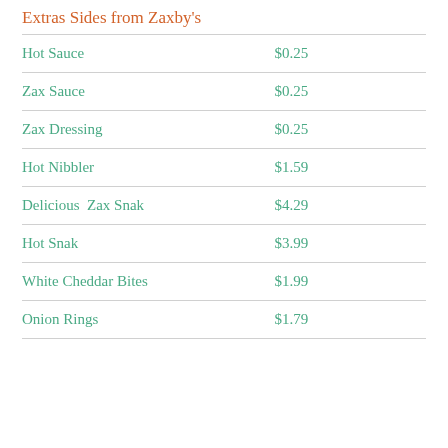Extras Sides from Zaxby's
| Item | Price |
| --- | --- |
| Hot Sauce | $0.25 |
| Zax Sauce | $0.25 |
| Zax Dressing | $0.25 |
| Hot Nibbler | $1.59 |
| Delicious  Zax Snak | $4.29 |
| Hot Snak | $3.99 |
| White Cheddar Bites | $1.99 |
| Onion Rings | $1.79 |